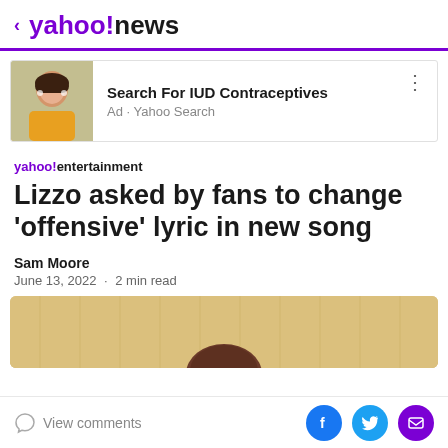< yahoo!news
[Figure (screenshot): Advertisement banner: Search For IUD Contraceptives - Ad · Yahoo Search, with photo of a young woman with glasses and long dark hair wearing a yellow top]
yahoo!entertainment
Lizzo asked by fans to change 'offensive' lyric in new song
Sam Moore
June 13, 2022 · 2 min read
[Figure (photo): Partial photo showing top of a person's head with curly dark hair against a warm beige/wood-toned background]
View comments